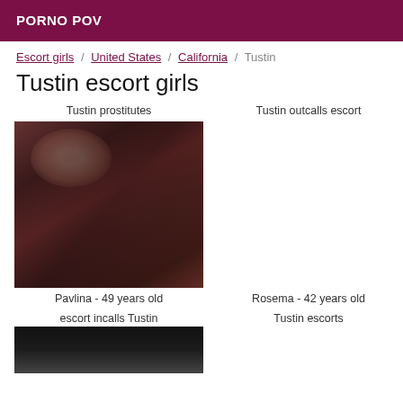PORNO POV
Escort girls / United States / California / Tustin
Tustin escort girls
Tustin prostitutes
[Figure (photo): Close-up photo of a woman with dark hair covering most of her face]
Pavlina - 49 years old
Tustin outcalls escort
Rosema - 42 years old
escort incalls Tustin
[Figure (photo): Partial photo, dark background, bottom of page]
Tustin escorts